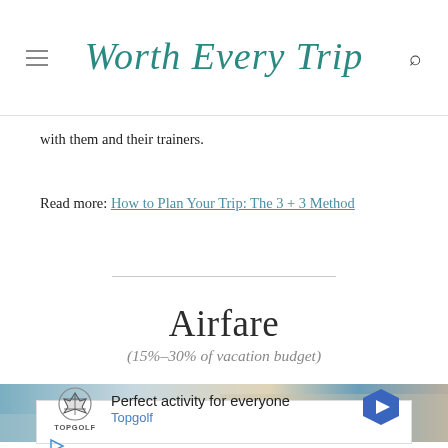Worth Every Trip
with them and their trainers.
Read more: How to Plan Your Trip: The 3 + 3 Method
Airfare
(15%–30% of vacation budget)
[Figure (photo): Partial view of airplane interior/exterior]
[Figure (screenshot): Advertisement for Topgolf: 'Perfect activity for everyone' with Topgolf logo and navigation arrow icon]